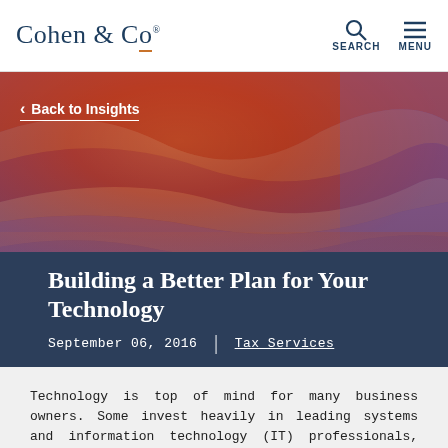Cohen & Co® | SEARCH | MENU
[Figure (photo): Hero background photo of colorful layered sandstone rock formations (Antelope Canyon style) in red, orange, and purple hues.]
< Back to Insights
Building a Better Plan for Your Technology
September 06, 2016  |  Tax Services
Technology is top of mind for many business owners. Some invest heavily in leading systems and information technology (IT) professionals, while others focus on the minimum spend to